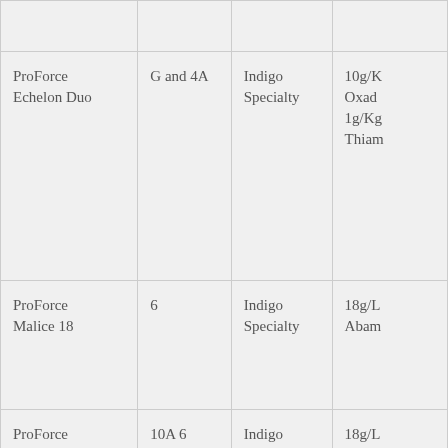| Product | Mode of Action | Distributor | Active Ingredient |
| --- | --- | --- | --- |
| ProForce Echelon Duo | G and 4A | Indigo Specialty | 10g/K Oxad 1g/Kg Thiam |
| ProForce Malice 18 | 6 | Indigo Specialty | 18g/L Abam |
| ProForce Malice Duo | 10A 6 | Indigo Specialty | 18g/L Abam 187.5g Clofe |